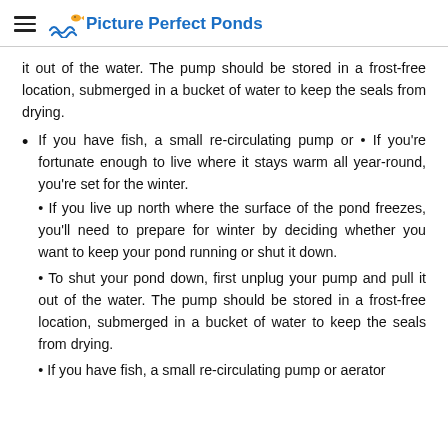Picture Perfect Ponds
it out of the water. The pump should be stored in a frost-free location, submerged in a bucket of water to keep the seals from drying.
If you have fish, a small re-circulating pump or • If you're fortunate enough to live where it stays warm all year-round, you're set for the winter.
• If you live up north where the surface of the pond freezes, you'll need to prepare for winter by deciding whether you want to keep your pond running or shut it down.
• To shut your pond down, first unplug your pump and pull it out of the water. The pump should be stored in a frost-free location, submerged in a bucket of water to keep the seals from drying.
• If you have fish, a small re-circulating pump or aerator